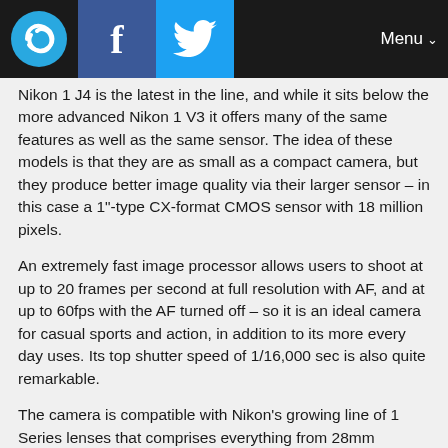Menu
Nikon 1 J4 is the latest in the line, and while it sits below the more advanced Nikon 1 V3 it offers many of the same features as well as the same sensor. The idea of these models is that they are as small as a compact camera, but they produce better image quality via their larger sensor – in this case a 1"-type CX-format CMOS sensor with 18 million pixels.
An extremely fast image processor allows users to shoot at up to 20 frames per second at full resolution with AF, and at up to 60fps with the AF turned off – so it is an ideal camera for casual sports and action, in addition to its more every day uses. Its top shutter speed of 1/16,000 sec is also quite remarkable.
The camera is compatible with Nikon's growing line of 1 Series lenses that comprises everything from 28mm equivalent wide angle zooms to telephotos of up to 810mm.
With a 3" touch screen, built-in Wi-Fi, an ISO range of 160-16,000 and more, it covers a lot of features, not least that